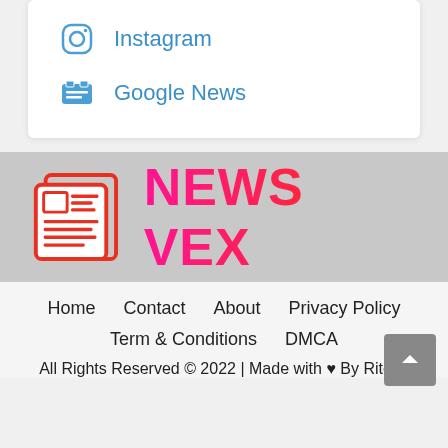Instagram
Google News
[Figure (logo): News Vex logo: newspaper icon in red outline followed by 'NEWS VEX' text in a magenta-to-red gradient, on a gray background]
Home  Contact  About  Privacy Policy  Term & Conditions  DMCA  All Rights Reserved © 2022 | Made with ♥ By Ritesh